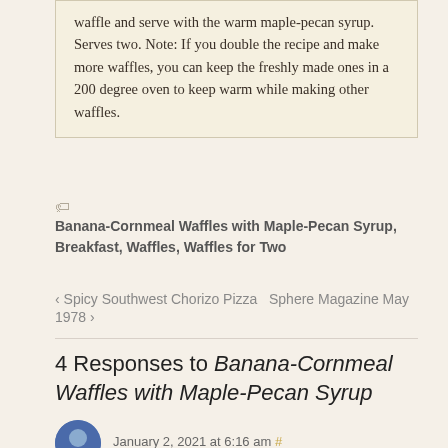waffle and serve with the warm maple-pecan syrup. Serves two. Note: If you double the recipe and make more waffles, you can keep the freshly made ones in a 200 degree oven to keep warm while making other waffles.
Banana-Cornmeal Waffles with Maple-Pecan Syrup, Breakfast, Waffles, Waffles for Two
< Spicy Southwest Chorizo Pizza  Sphere Magazine May 1978 >
4 Responses to Banana-Cornmeal Waffles with Maple-Pecan Syrup
January 2, 2021 at 6:16 am #